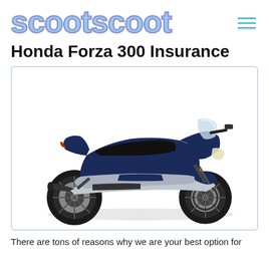scootscoot
Honda Forza 300 Insurance
[Figure (photo): Honda Forza 300 scooter in navy blue and silver colorway, side profile view facing right, on white background]
There are tons of reasons why we are your best option for